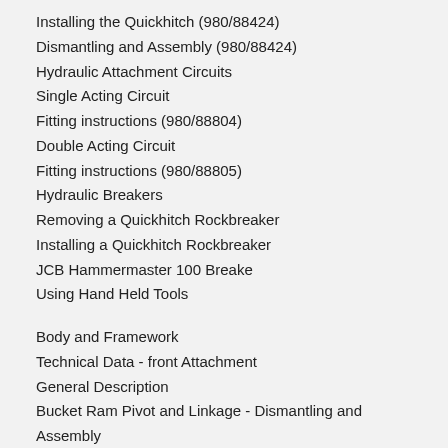Installing the Quickhitch (980/88424)
Dismantling and Assembly (980/88424)
Hydraulic Attachment Circuits
Single Acting Circuit
Fitting instructions (980/88804)
Double Acting Circuit
Fitting instructions (980/88805)
Hydraulic Breakers
Removing a Quickhitch Rockbreaker
Installing a Quickhitch Rockbreaker
JCB Hammermaster 100 Breake
Using Hand Held Tools
Body and Framework
Technical Data - front Attachment
General Description
Bucket Ram Pivot and Linkage - Dismantling and Assembly
Dipper - Removal and Replacement
Boom - Removal and replacement